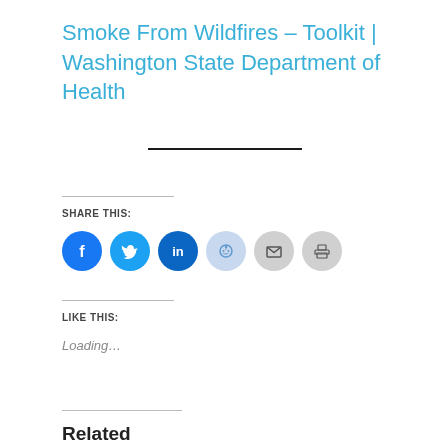Smoke From Wildfires – Toolkit | Washington State Department of Health
[Figure (infographic): Social share icons row: Facebook (blue circle), Twitter (blue circle), LinkedIn (dark blue circle), Reddit (light blue circle), Email (gray circle with envelope), Print (gray circle with printer icon)]
SHARE THIS:
LIKE THIS:
Loading...
Related